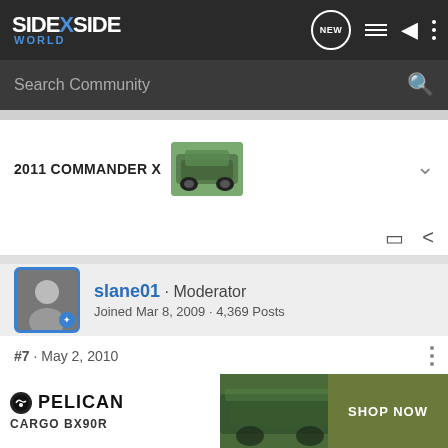SidexSide WORLD — navigation bar with NEW, list, user, and menu icons
Search Community
2011 COMMANDER X
slane01 · Moderator
Joined Mar 8, 2009 · 4,369 Posts
#7 · May 2, 2010
That is a very cool hobby Bruce. I will definitely enjoy watching the progress on this thread.....Hey How come you need the entire B[...] using one LO[...]
[Figure (screenshot): Pelican CARGO BX90R advertisement banner at the bottom of the page with SHOP NOW button]